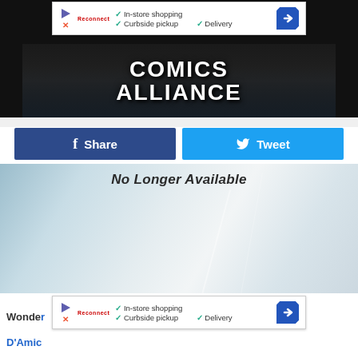[Figure (screenshot): Advertisement banner with play icon, Reconnect logo, checkmarks for In-store shopping, Curbside pickup, Delivery, and a blue diamond arrow icon]
[Figure (logo): Comics Alliance website header logo in bold white text on dark background with cityscape]
[Figure (screenshot): Share button (Facebook, dark blue) and Tweet button (Twitter, light blue)]
No Longer Available
[Figure (photo): Blurred light-colored background image with 'No Longer Available' text overlay]
Wonde
D'Amic
[Figure (screenshot): Second advertisement banner with same content as first: In-store shopping, Curbside pickup, Delivery checkmarks]